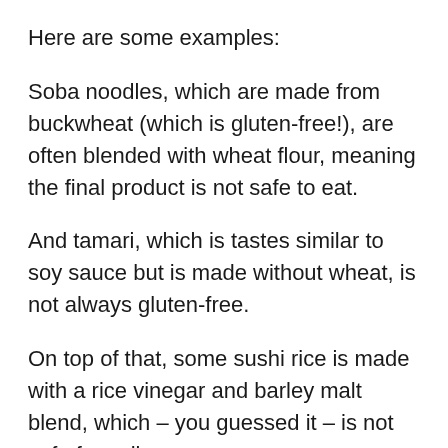Here are some examples:
Soba noodles, which are made from buckwheat (which is gluten-free!), are often blended with wheat flour, meaning the final product is not safe to eat.
And tamari, which is tastes similar to soy sauce but is made without wheat, is not always gluten-free.
On top of that, some sushi rice is made with a rice vinegar and barley malt blend, which – you guessed it – is not safe for celiacs.
I know this a major buzzkill for any celiacs trying to plan a trip to Japan. So by this point you must be ready for the good news, right?